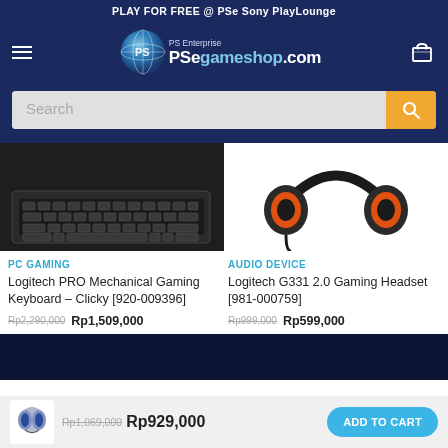PLAY FOR FREE @ PSe Sony PlayLounge
[Figure (logo): PSe gameshop.com logo with globe icon and navigation bar with hamburger menu and cart icon]
[Figure (screenshot): Search bar with placeholder text 'Search' and orange search button]
[Figure (photo): Logitech PRO Mechanical Gaming Keyboard product image (dark background)]
[Figure (photo): Logitech G331 2.0 Gaming Headset product image (white background)]
PC GAMING
Logitech PRO Mechanical Gaming Keyboard – Clicky [920-009396]
Rp2,290,000  Rp1,509,000
AUDIO DEVICE
Logitech G331 2.0 Gaming Headset [981-000759]
Rp999,000  Rp599,000
[Figure (photo): Headset product thumbnail icon in bottom bar]
Rp1,069,000  Rp929,000  ADD TO CART